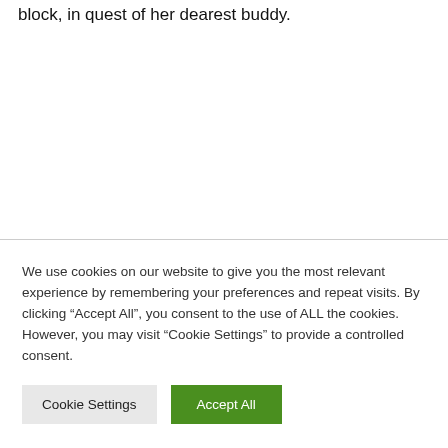block, in quest of her dearest buddy.
We use cookies on our website to give you the most relevant experience by remembering your preferences and repeat visits. By clicking “Accept All”, you consent to the use of ALL the cookies. However, you may visit "Cookie Settings" to provide a controlled consent.
Cookie Settings
Accept All